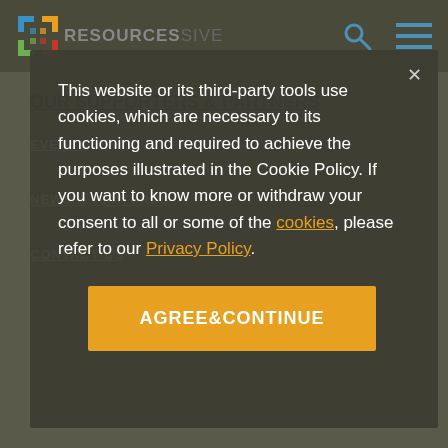RESOURCES
OUR SUPPORTERS & PARTNERS
EVENTS
NEWS & FEATURES
CONTACT US
This website or its third-party tools use cookies, which are necessary to its functioning and required to achieve the purposes illustrated in the Cookie Policy. If you want to know more or withdraw your consent to all or some of the cookies, please refer to our Privacy Policy.
AGREE&CONTINUE